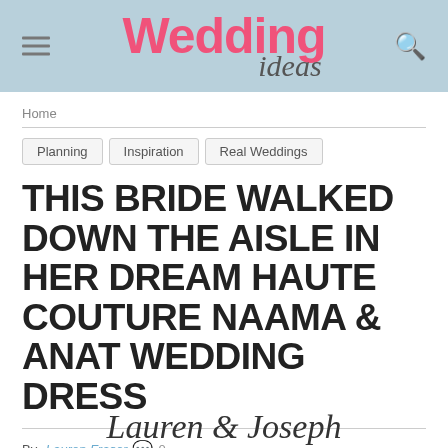Wedding ideas
Home
Planning
Inspiration
Real Weddings
THIS BRIDE WALKED DOWN THE AISLE IN HER DREAM HAUTE COUTURE NAAMA & ANAT WEDDING DRESS
By Lauren Fraser  0
Lauren & Joseph